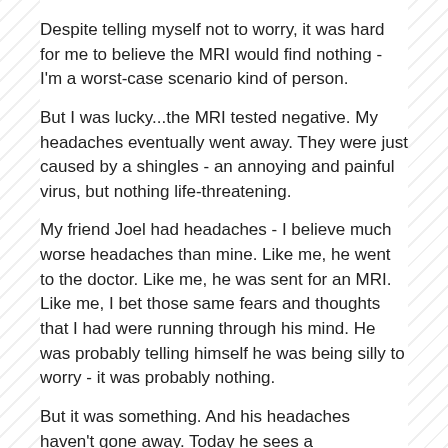Despite telling myself not to worry, it was hard for me to believe the MRI would find nothing - I'm a worst-case scenario kind of person.
But I was lucky...the MRI tested negative. My headaches eventually went away. They were just caused by a shingles - an annoying and painful virus, but nothing life-threatening.
My friend Joel had headaches - I believe much worse headaches than mine. Like me, he went to the doctor. Like me, he was sent for an MRI. Like me, I bet those same fears and thoughts that I had were running through his mind. He was probably telling himself he was being silly to worry - it was probably nothing.
But it was something. And his headaches haven't gone away. Today he sees a neurosurgeon.
Please join me in praying for Joel...praying that his headaches - and the reason for his headaches - will soon be a distant memory for him as mine are for me. Join me in praying that he heals and is healthy for many, many years to come.